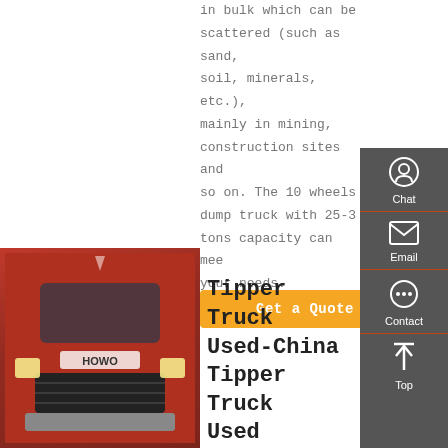in bulk which can be scattered (such as sand, soil, minerals, etc.), mainly in mining, construction sites and so on. The 10 wheels dump truck with 25-30 tons capacity can meet your needs.
Get a Quote
[Figure (photo): Front view of a red HOWO dump/tipper truck]
Tipper Truck Used-China Tipper Truck Used